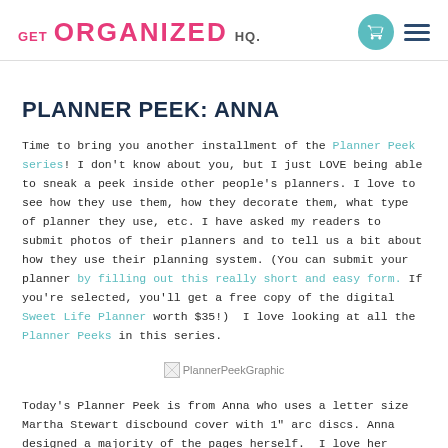GET ORGANIZED HQ
PLANNER PEEK: ANNA
Time to bring you another installment of the Planner Peek series! I don't know about you, but I just LOVE being able to sneak a peek inside other people's planners. I love to see how they use them, how they decorate them, what type of planner they use, etc. I have asked my readers to submit photos of their planners and to tell us a bit about how they use their planning system. (You can submit your planner by filling out this really short and easy form. If you're selected, you'll get a free copy of the digital Sweet Life Planner worth $35!)  I love looking at all the Planner Peeks in this series.
[Figure (other): Broken image placeholder labeled PlannerPeekGraphic]
Today's Planner Peek is from Anna who uses a letter size Martha Stewart discbound cover with 1" arc discs. Anna designed a majority of the pages herself.  I love her layout.  To keep herself organized, Anna prefers a master to-do list that helps her keep